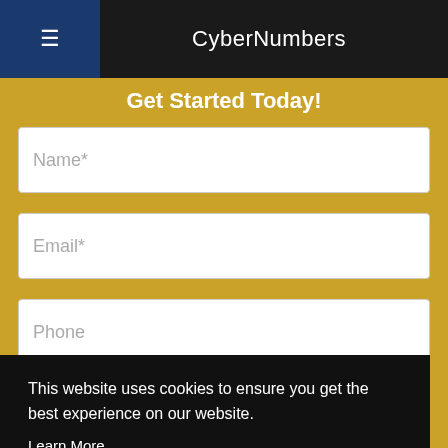CyberNumbers
Get Started Today!
Name*
Email*
Phone
This website uses cookies to ensure you get the best experience on our website.
Learn More
Got it!